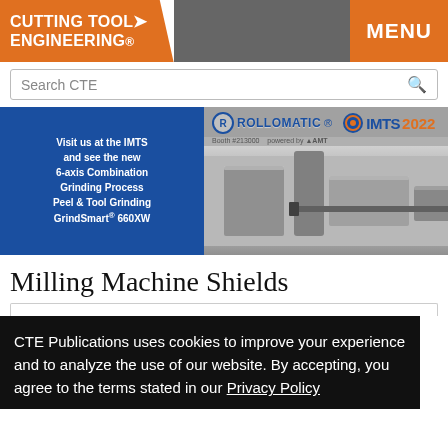CUTTING TOOL ENGINEERING® | MENU
Search CTE
[Figure (illustration): Rollomatic IMTS 2022 advertisement banner showing a 6-axis Combination Grinding Process Peel & Tool Grinding GrindSmart® 660XW machine]
Milling Machine Shields
CTE Publications uses cookies to improve your experience and to analyze the use of our website. By accepting, you agree to the terms stated in our Privacy Policy